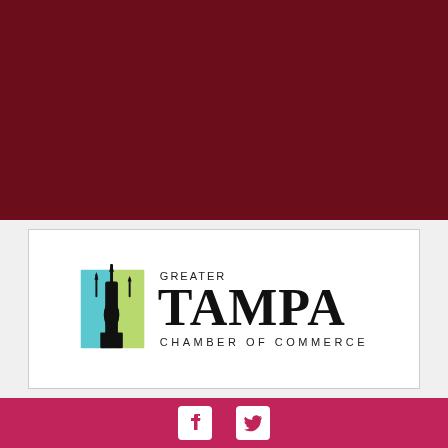[Figure (logo): Dark red/maroon background band at top of page]
[Figure (logo): Greater Tampa Chamber of Commerce logo on white background with colorful icon showing Tampa skyline silhouette in blue and green panels]
[Figure (logo): Pink/crimson footer bar with Facebook and Twitter social media icons in white]